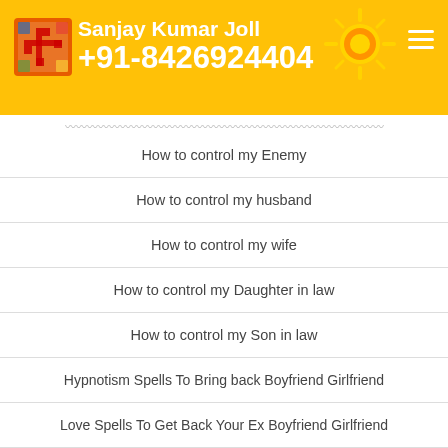Sanjay Kumar Joll +91-8426924404
How to control my Enemy
How to control my husband
How to control my wife
How to control my Daughter in law
How to control my Son in law
Hypnotism Spells To Bring back Boyfriend Girlfriend
Love Spells To Get Back Your Ex Boyfriend Girlfriend